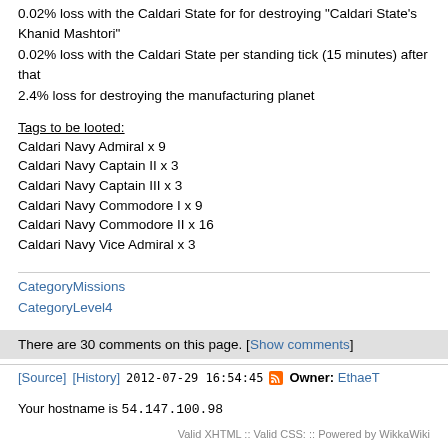0.02% loss with the Caldari State for for destroying "Caldari State's Khanid Mashtori"
0.02% loss with the Caldari State per standing tick (15 minutes) after that
2.4% loss for destroying the manufacturing planet
Tags to be looted:
Caldari Navy Admiral x 9
Caldari Navy Captain II x 3
Caldari Navy Captain III x 3
Caldari Navy Commodore I x 9
Caldari Navy Commodore II x 16
Caldari Navy Vice Admiral x 3
CategoryMissions
CategoryLevel4
There are 30 comments on this page. [Show comments]
[Source]  [History]  2012-07-29 16:54:45  Owner: EthaeT
Your hostname is 54.147.100.98
Valid XHTML :: Valid CSS: :: Powered by WikkaWiki